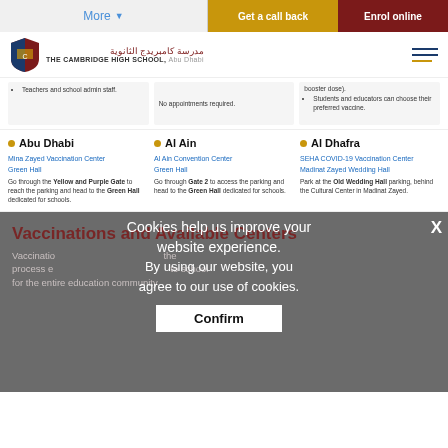More | Get a call back | Enrol online
[Figure (logo): Cambridge High School logo with shield and Arabic/English text]
Teachers and school admin staff. | No appointments required. | booster dose). Students and educators can choose their preferred vaccine.
Abu Dhabi
Mina Zayed Vaccination Center
Green Hall
Go through the Yellow and Purple Gate to reach the parking and head to the Green Hall dedicated for schools.
Al Ain
Al Ain Convention Center
Green Hall
Go through Gate 2 to access the parking and head to the Green Hall dedicated for schools.
Al Dhafra
SEHA COVID-19 Vaccination Center
Madinat Zayed Wedding Hall
Park at the Old Wedding Hall parking, behind the Cultural Center in Madinat Zayed.
Vaccinations and Available Centers
Vaccination By using our website, you the process agree to our use of cookies. to school for the entire education community
Cookies help us improve your website experience. By using our website, you agree to our use of cookies.
Confirm